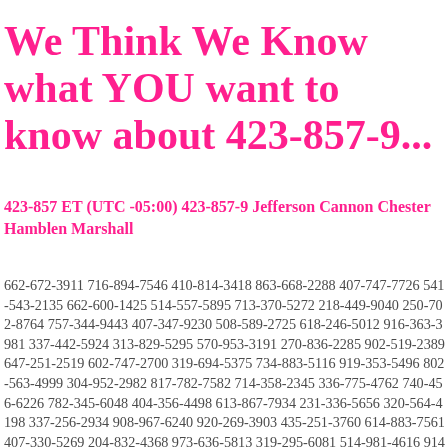We Think We Know what YOU want to know about 423-857-9...
423-857 ET (UTC -05:00) 423-857-9 Jefferson Cannon Chester Hamblen Marshall
662-672-3911 716-894-7546 410-814-3418 863-668-2288 407-747-7726 541-543-2135 662-600-1425 514-557-5895 713-370-5272 218-449-9040 250-702-8764 757-344-9443 407-347-9230 508-589-2725 618-246-5012 916-363-3981 337-442-5924 313-829-5295 570-953-3191 270-836-2285 902-519-2389 647-251-2519 602-747-2700 319-694-5375 734-883-5116 919-353-5496 802-563-4999 304-952-2982 817-782-7582 714-358-2345 336-775-4762 740-456-6226 782-345-6048 404-356-4498 613-867-7934 231-336-5656 320-564-4198 337-256-2934 908-967-6240 920-269-3903 435-251-3760 614-883-7561 407-330-5269 204-832-4368 973-636-5813 319-295-6081 514-981-4616 914-347-5422 581-401-8099 808-250-6812 701-853-6145 646-471-7180 205-731-4705 650-361-6135 612-266-8136 845-208-8665 403-931-5325 440-506-5580 505-441-3617 973-798-5104 805-715-1269 831-618-2565 574-292-2792 231-256-3189 86-922-